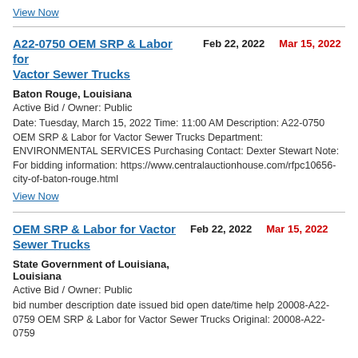View Now
A22-0750 OEM SRP & Labor for Vactor Sewer Trucks   Feb 22, 2022   Mar 15, 2022
Baton Rouge, Louisiana
Active Bid / Owner: Public
Date: Tuesday, March 15, 2022 Time: 11:00 AM Description: A22-0750 OEM SRP & Labor for Vactor Sewer Trucks Department: ENVIRONMENTAL SERVICES Purchasing Contact: Dexter Stewart Note: For bidding information: https://www.centralauctionhouse.com/rfpc10656-city-of-baton-rouge.html
View Now
OEM SRP & Labor for Vactor Sewer Trucks   Feb 22, 2022   Mar 15, 2022
State Government of Louisiana, Louisiana
Active Bid / Owner: Public
bid number description date issued bid open date/time help 20008-A22-0759 OEM SRP & Labor for Vactor Sewer Trucks Original: 20008-A22-0759